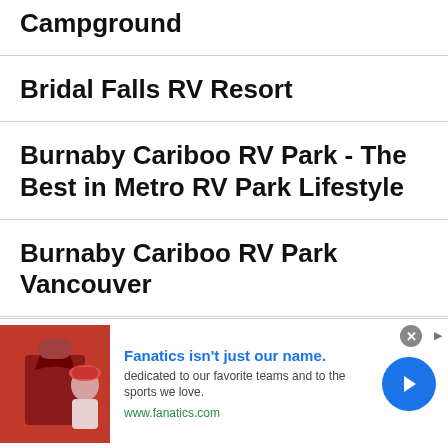Campground
Bridal Falls RV Resort
Burnaby Cariboo RV Park - The Best in Metro RV Park Lifestyle
Burnaby Cariboo RV Park Vancouver
Desert Gem Resort
[Figure (screenshot): Advertisement banner for Fanatics website showing a polo shirt and person wearing a hat, with headline 'Fanatics isn't just our name.' and body text 'dedicated to our favorite teams and to the sports we love.' and URL www.fanatics.com]